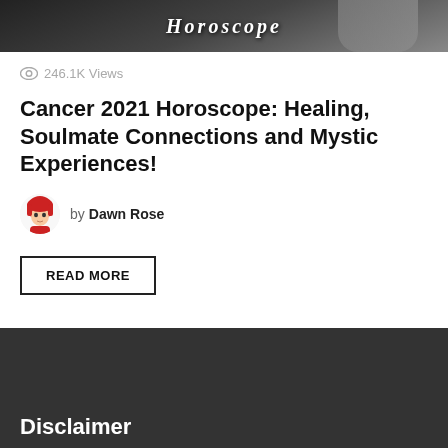[Figure (screenshot): Dark banner image at top showing the word 'Horoscope' in stylized white text with a person visible on the right side]
246.1K Views
Cancer 2021 Horoscope: Healing, Soulmate Connections and Mystic Experiences!
by Dawn Rose
READ MORE
Disclaimer